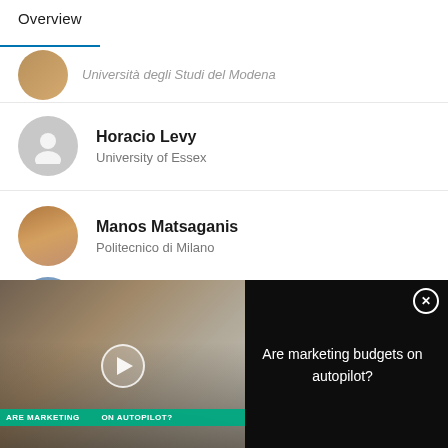Overview
Università degli Studi del Modena (partial, cropped)
Horacio Levy
University of Essex
Manos Matsaganis
Politecnico di Milano
Alori Paulus (partial, cropped)
[Figure (screenshot): Video thumbnail showing people in a meeting/workshop setting with text overlay 'ARE MARKETING ... ON AUTOPILOT?' and a play button]
Are marketing budgets on autopilot?
Vitalija Gabnytė